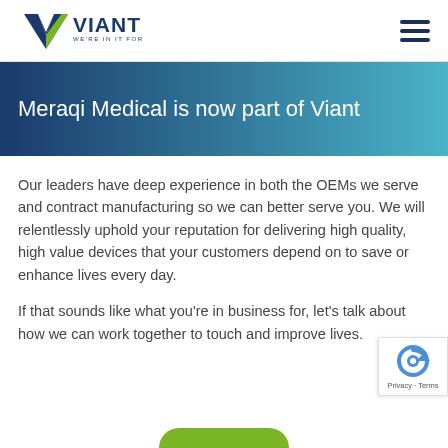[Figure (logo): Viant logo with green V checkmark and dark blue VIANT text, tagline WE'RE IN IT FOR LIFE.]
[Figure (other): Hamburger menu icon with three horizontal dark blue lines]
Meraqi Medical is now part of Viant
Our leaders have deep experience in both the OEMs we serve and contract manufacturing so we can better serve you. We will relentlessly uphold your reputation for delivering high quality, high value devices that your customers depend on to save or enhance lives every day.
If that sounds like what you're in business for, let's talk about how we can work together to touch and improve lives.
[Figure (other): Google reCAPTCHA badge with circular arrows icon and Privacy · Terms text]